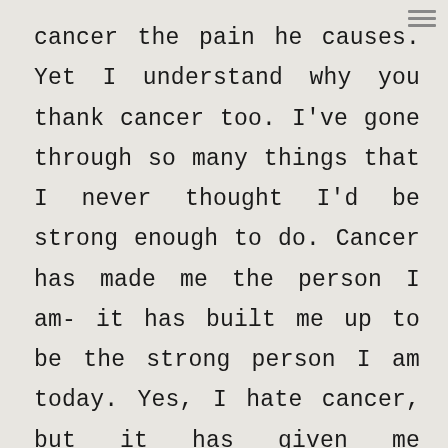cancer the pain he causes. Yet I understand why you thank cancer too. I've gone through so many things that I never thought I'd be strong enough to do. Cancer has made me the person I am- it has built me up to be the strong person I am today. Yes, I hate cancer, but it has given me knowledge and